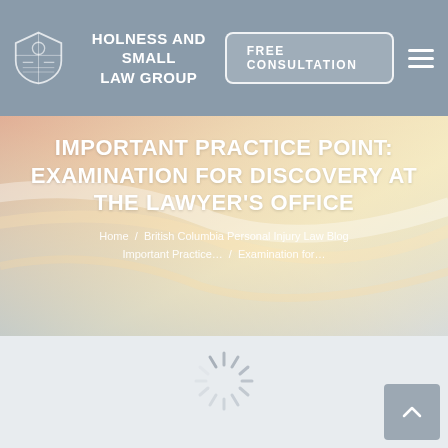HOLNESS AND SMALL LAW GROUP — FREE CONSULTATION
IMPORTANT PRACTICE POINT: EXAMINATION FOR DISCOVERY AT THE LAWYER'S OFFICE
Home / British Columbia Personal Injury Law Blog / Important Practice… Examination for…
[Figure (illustration): Loading spinner / decorative wheat-stalk icon over light gradient background]